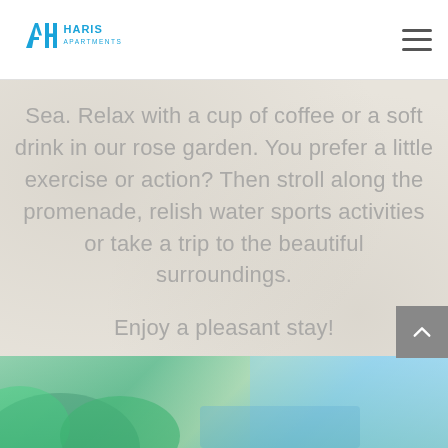[Figure (logo): Haris Apartments logo with blue AH letters and text HARIS APARTMENTS]
Sea. Relax with a cup of coffee or a soft drink in our rose garden. You prefer a little exercise or action? Then stroll along the promenade, relish water sports activities or take a trip to the beautiful surroundings.
Enjoy a pleasant stay!
[Figure (photo): Bottom strip showing a partial photo of a tropical garden/pool area with green foliage and blue sky]